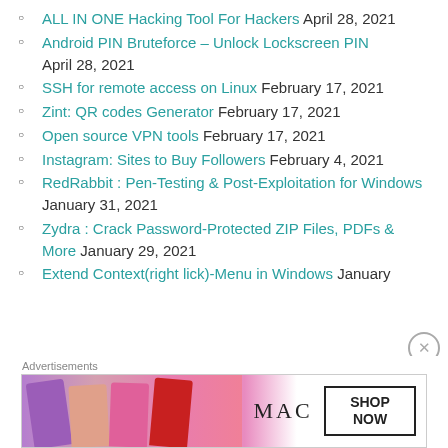ALL IN ONE Hacking Tool For Hackers April 28, 2021
Android PIN Bruteforce – Unlock Lockscreen PIN April 28, 2021
SSH for remote access on Linux February 17, 2021
Zint: QR codes Generator February 17, 2021
Open source VPN tools February 17, 2021
Instagram: Sites to Buy Followers February 4, 2021
RedRabbit : Pen-Testing & Post-Exploitation for Windows January 31, 2021
Zydra : Crack Password-Protected ZIP Files, PDFs & More January 29, 2021
Extend Context(right lick)-Menu in Windows January
[Figure (other): MAC cosmetics advertisement showing colorful lipsticks with text SHOP NOW]